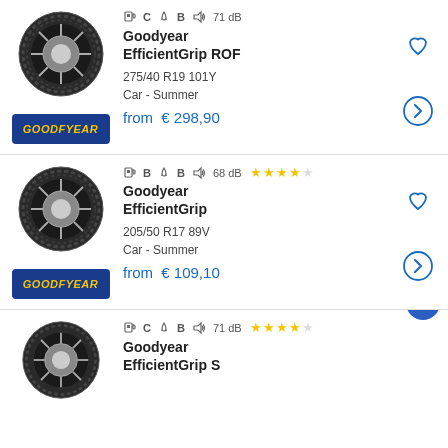[Figure (other): Product listing row 1: Goodyear tire image with Goodyear brand logo, fuel efficiency C, wet grip B, noise 71 dB, product name EfficientGrip ROF, 275/40 R19 101Y, Car - Summer, price from €298,90, heart and arrow icons]
[Figure (other): Product listing row 2: Goodyear tire image with Goodyear brand logo, fuel efficiency B, wet grip B, noise 68 dB, 4 stars rating, product name EfficientGrip, 205/50 R17 89V, Car - Summer, price from €109,10, heart and arrow icons]
[Figure (other): Product listing row 3 (partial): Goodyear tire image, fuel efficiency C, wet grip B, noise 71 dB, ~4 stars rating, product name EfficientGrip... (cut off), scroll-up button]